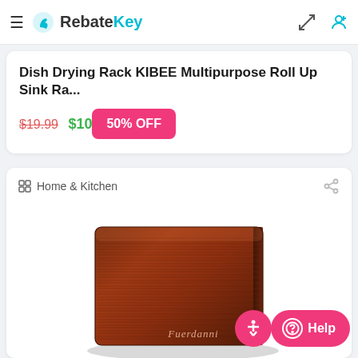RebateKey
Dish Drying Rack KIBEE Multipurpose Roll Up Sink Ra...
$19.99 $10  50% OFF
Home & Kitchen
[Figure (photo): Brown leather bifold wallet with horizontal stripe texture pattern and 'Fuerdanni' logo embossed on the front]